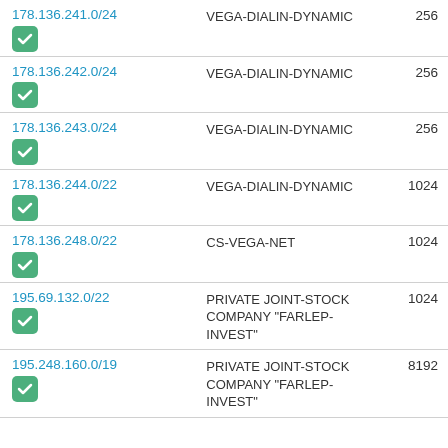| IP Range | Organization | Count |
| --- | --- | --- |
| 178.136.241.0/24 | VEGA-DIALIN-DYNAMIC | 256 |
| 178.136.242.0/24 | VEGA-DIALIN-DYNAMIC | 256 |
| 178.136.243.0/24 | VEGA-DIALIN-DYNAMIC | 256 |
| 178.136.244.0/22 | VEGA-DIALIN-DYNAMIC | 1024 |
| 178.136.248.0/22 | CS-VEGA-NET | 1024 |
| 195.69.132.0/22 | PRIVATE JOINT-STOCK COMPANY "FARLEP-INVEST" | 1024 |
| 195.248.160.0/19 | PRIVATE JOINT-STOCK COMPANY "FARLEP-INVEST" | 8192 |